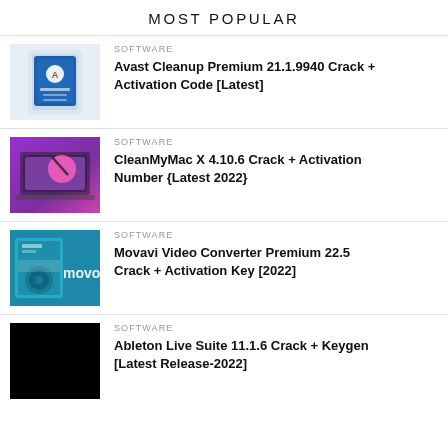MOST POPULAR
SOFTWARE
Avast Cleanup Premium 21.1.9940 Crack + Activation Code [Latest]
SOFTWARE
CleanMyMac X 4.10.6 Crack + Activation Number {Latest 2022}
SOFTWARE
Movavi Video Converter Premium 22.5 Crack + Activation Key [2022]
SOFTWARE
Ableton Live Suite 11.1.6 Crack + Keygen [Latest Release-2022]